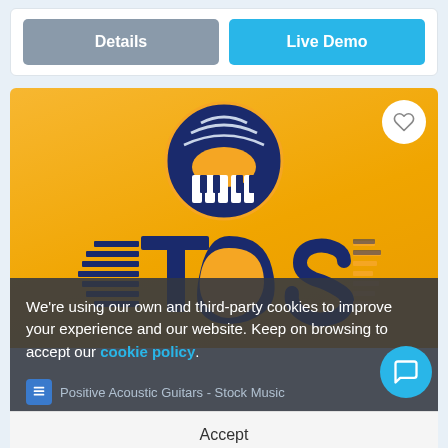[Figure (screenshot): Two buttons side by side: a grey 'Details' button on the left and a blue 'Live Demo' button on the right]
[Figure (logo): TOS music logo on orange/yellow gradient background — circular logo with piano keys and vinyl record on top, large bold navy text 'TOS' with speed lines, heart favorite button in top-right corner]
We're using our own and third-party cookies to improve your experience and our website. Keep on browsing to accept our cookie policy.
Positive Acoustic Guitars - Stock Music
Accept